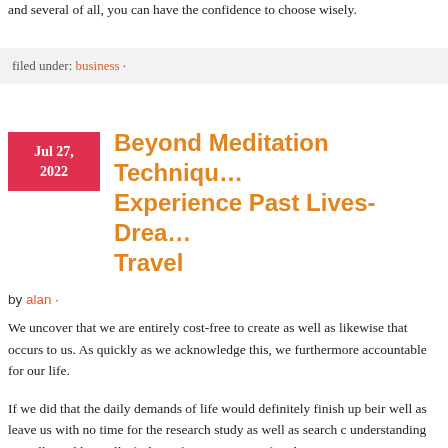and several of all, you can have the confidence to choose wisely.
filed under: business ·
Beyond Meditation Techniqu… Experience Past Lives-Drea… Travel
by alan ·
We uncover that we are entirely cost-free to create as well as likewise that occurs to us. As quickly as we acknowledge this, we furthermore accountable for our life.
If we did that the daily demands of life would definitely finish up beir well as leave us with no time for the research study as well as search c understanding as well as additionally feeling of exposure, we after tha Divinity, comprehending our Dharma (optimal life tasks), eliminating productising. In right thinking how we from and the last of four